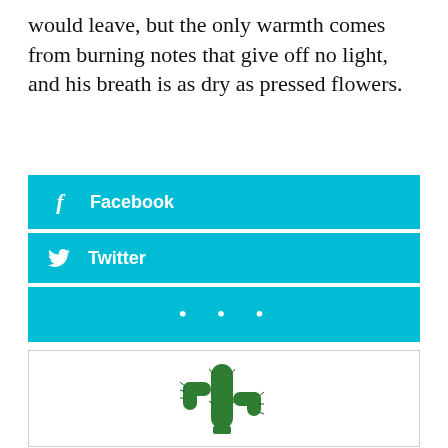would leave, but the only warmth comes from burning notes that give off no light, and his breath is as dry as pressed flowers.
[Figure (infographic): Three cyan/teal social share buttons: Facebook, Twitter, and a '...' more button]
[Figure (illustration): A green cactus illustration inside a white box with a light gray border]